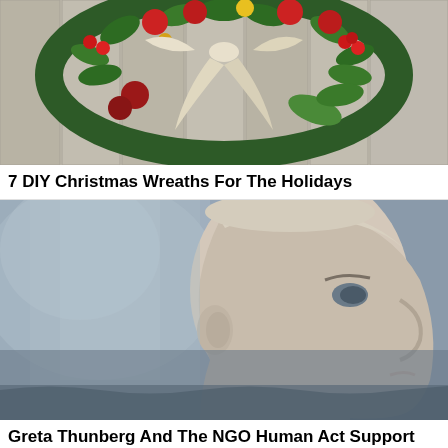[Figure (photo): A colorful Christmas wreath hanging on wooden planks, decorated with red apples, yellow flowers, red berries, green leaves, and a cream/white ribbon bow]
7 DIY Christmas Wreaths For The Holidays
[Figure (photo): A young person (Greta Thunberg) photographed in profile view against a misty grey background, with short light hair, looking upward to the right]
Greta Thunberg And The NGO Human Act Support UNICEF